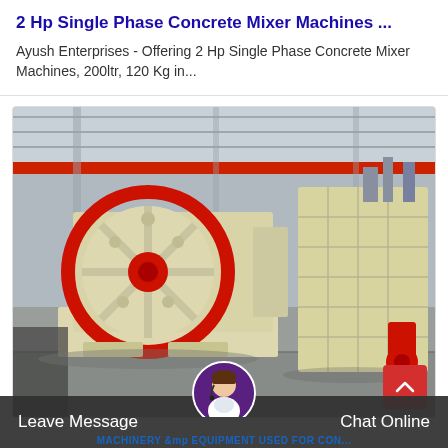2 Hp Single Phase Concrete Mixer Machines ...
Ayush Enterprises - Offering 2 Hp Single Phase Concrete Mixer Machines, 200ltr, 120 Kg in...
[Figure (photo): Industrial machinery photo showing a large jaw crusher machine (cream/beige colored with red circular flywheel) and an impact crusher in the background, displayed inside a factory/warehouse. A scroll-to-top red button with a chevron-up icon is overlaid at bottom right.]
Leave Message   Chat Online   MACHINERY &mp EQUIPMENT USED FOR CON...